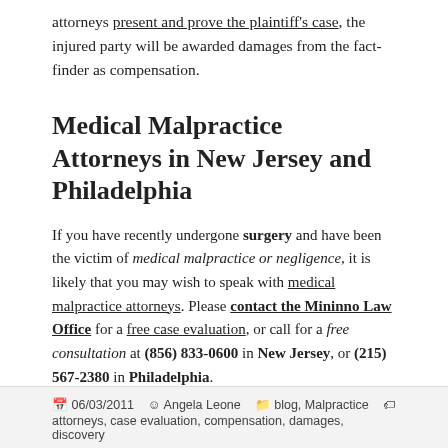attorneys present and prove the plaintiff's case, the injured party will be awarded damages from the fact-finder as compensation.
Medical Malpractice Attorneys in New Jersey and Philadelphia
If you have recently undergone surgery and have been the victim of medical malpractice or negligence, it is likely that you may wish to speak with medical malpractice attorneys. Please contact the Mininno Law Office for a free case evaluation, or call for a free consultation at (856) 833-0600 in New Jersey, or (215) 567-2380 in Philadelphia.
06/03/2011  Angela Leone  blog, Malpractice  attorneys, case evaluation, compensation, damages, discovery